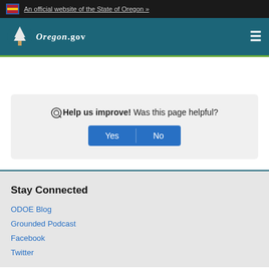An official website of the State of Oregon »
[Figure (logo): Oregon.gov logo with pine tree icon and text OREGON.GOV on teal navigation bar]
Help us improve! Was this page helpful?
Stay Connected
ODOE Blog
Grounded Podcast
Facebook
Twitter